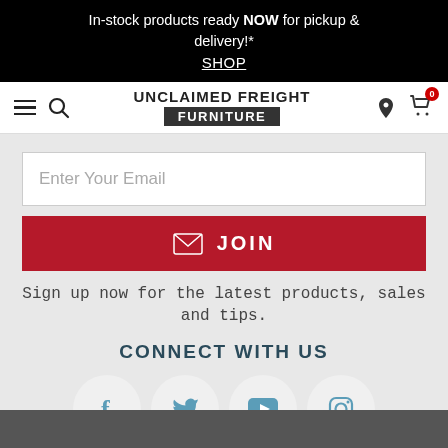In-stock products ready NOW for pickup & delivery!* SHOP
[Figure (screenshot): Navigation bar with hamburger menu, search icon, Unclaimed Freight Furniture logo, location pin icon, and cart icon with 0 badge]
Enter Your Email
JOIN
Sign up now for the latest products, sales and tips.
CONNECT WITH US
[Figure (infographic): Four social media icons in white circles: Facebook, Twitter, YouTube, Instagram]